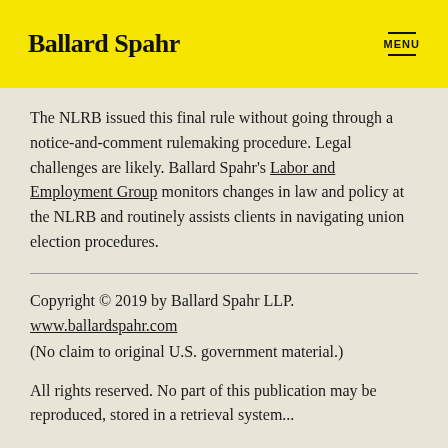Ballard Spahr | MENU
The NLRB issued this final rule without going through a notice-and-comment rulemaking procedure. Legal challenges are likely. Ballard Spahr's Labor and Employment Group monitors changes in law and policy at the NLRB and routinely assists clients in navigating union election procedures.
Copyright © 2019 by Ballard Spahr LLP.
www.ballardspahr.com
(No claim to original U.S. government material.)
All rights reserved. No part of this publication may be reproduced, stored in a retrieval system...